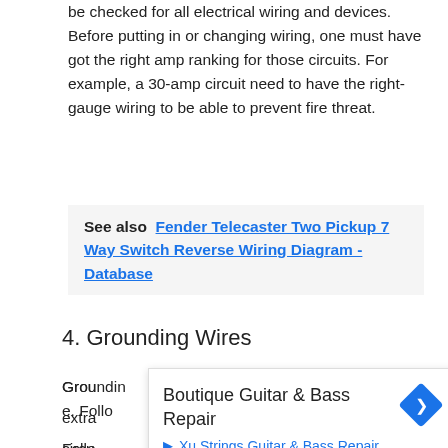be checked for all electrical wiring and devices. Before putting in or changing wiring, one must have got the right amp ranking for those circuits. For example, a 30-amp circuit need to have the right-gauge wiring to be able to prevent fire threat.
See also  Fender Telecaster Two Pickup 7 Way Switch Reverse Wiring Diagram - Database
4. Grounding Wires
Grounding wires … needed to extra… circuits … Follo…
[Figure (other): Advertisement overlay for 'Boutique Guitar & Bass Repair' with a navigation/directions icon and a link to 'Xu Strings Guitar & Bass Repair']